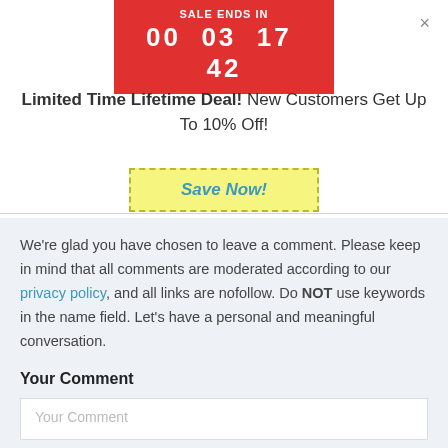[Figure (infographic): Red countdown timer banner with text 'SALE ENDS IN' and time '00 03 17 42']
×
Limited Time Lifetime Deal! New Customers Get Up To 10% Off!
Save Now!
We're glad you have chosen to leave a comment. Please keep in mind that all comments are moderated according to our privacy policy, and all links are nofollow. Do NOT use keywords in the name field. Let's have a personal and meaningful conversation.
Your Comment
Your Comment